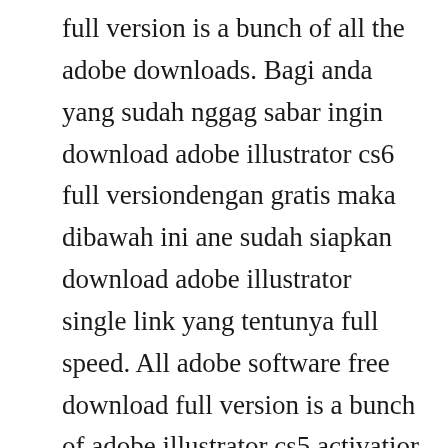full version is a bunch of all the adobe downloads. Bagi anda yang sudah nggag sabar ingin download adobe illustrator cs6 full versiondengan gratis maka dibawah ini ane sudah siapkan download adobe illustrator single link yang tentunya full speed. All adobe software free download full version is a bunch of adobe illustrator cs5 activatior all the adobe downloads. Jun 20, 2014 adobe illustrator is a free trial vector drawing software which offers users many tools to perform design tasks. It is a light version and loaded with all the